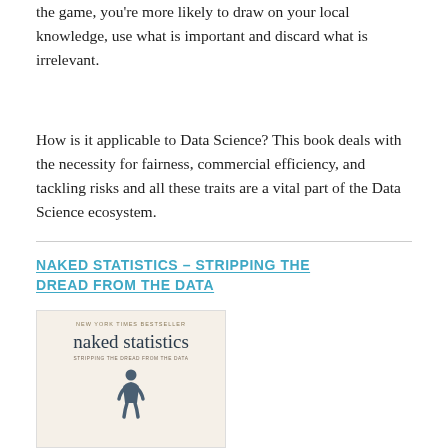the game, you're more likely to draw on your local knowledge, use what is important and discard what is irrelevant.
How is it applicable to Data Science? This book deals with the necessity for fairness, commercial efficiency, and tackling risks and all these traits are a vital part of the Data Science ecosystem.
NAKED STATISTICS – STRIPPING THE DREAD FROM THE DATA
[Figure (illustration): Book cover of 'Naked Statistics: Stripping the Dread from the Data' by Charles Wheelan. New York Times Bestseller. Cream/beige background with title in large serif font and a small human figure illustration at the bottom.]